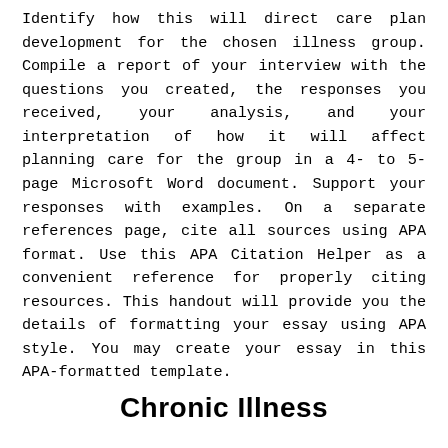Identify how this will direct care plan development for the chosen illness group. Compile a report of your interview with the questions you created, the responses you received, your analysis, and your interpretation of how it will affect planning care for the group in a 4- to 5-page Microsoft Word document. Support your responses with examples. On a separate references page, cite all sources using APA format. Use this APA Citation Helper as a convenient reference for properly citing resources. This handout will provide you the details of formatting your essay using APA style. You may create your essay in this APA-formatted template.
Chronic Illness